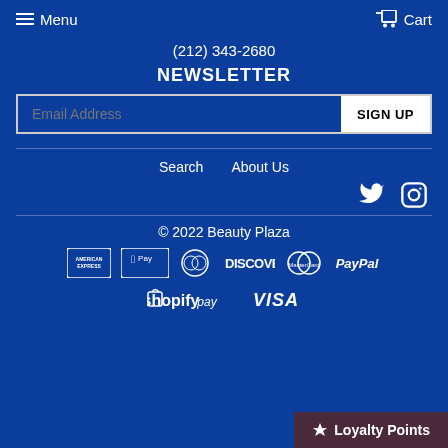Menu   Cart
(212) 343-2680
NEWSLETTER
Email Address  SIGN UP
Search   About Us
[Figure (logo): Twitter and Instagram social media icons]
© 2022 Beauty Plaza
[Figure (logo): Payment icons: American Express, Apple Pay, Diners Club, Discover, Mastercard, PayPal, Shopify Pay, Visa]
Loyalty Points